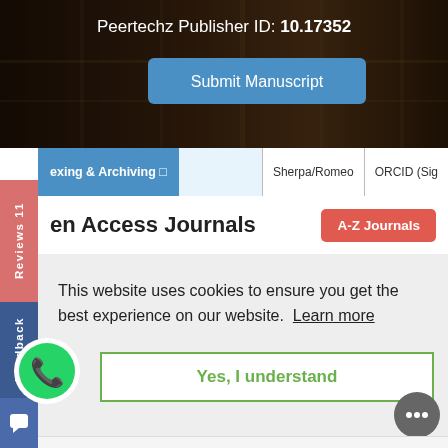[Figure (screenshot): Peertechz publisher website screenshot showing dark library background banner at top]
Peertechz Publisher ID: 10.17352
Submit Manuscript
exing & Archiving □
Sherpa/Romeo
ORCID (Sig
Reviews 11
Feedback
en Access Journals
A-Z Journals
This website uses cookies to ensure you get the best experience on our website. Learn more
Yes, I understand